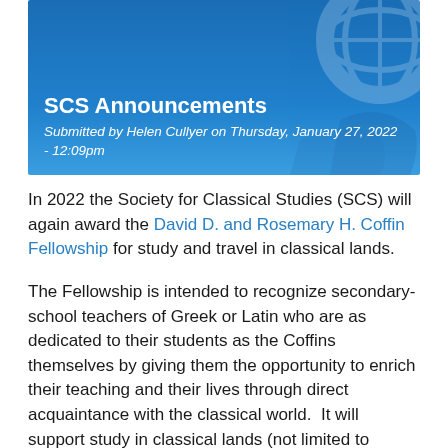[Figure (illustration): Blue banner header with decorative arc/globe illustration on the right side and text overlay showing SCS Announcements title and submission info]
SCS Announcements
Submitted by Helen Cullyer on Thursday, January 27, 2022 - 12:09pm
In 2022 the Society for Classical Studies (SCS) will again award the David D. and Rosemary H. Coffin Fellowship for study and travel in classical lands.
The Fellowship is intended to recognize secondary-school teachers of Greek or Latin who are as dedicated to their students as the Coffins themselves by giving them the opportunity to enrich their teaching and their lives through direct acquaintance with the classical world.  It will support study in classical lands (not limited to Greece and Italy); the recipient may use it to attend an educational program in (e.g. American Academy, American School) or to undertake an individual plan of study or research. It